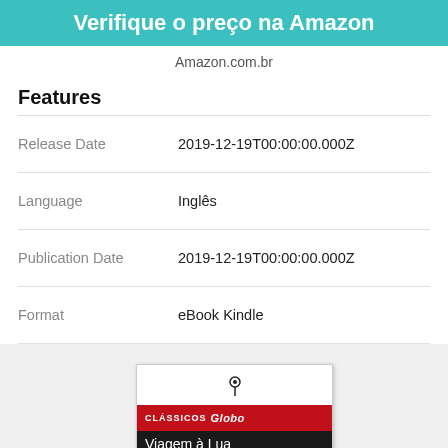Verifique o preço na Amazon
Amazon.com.br
Features
| Feature | Value |
| --- | --- |
| Release Date | 2019-12-19T00:00:00.000Z |
| Language | Inglês |
| Publication Date | 2019-12-19T00:00:00.000Z |
| Format | eBook Kindle |
[Figure (photo): Book cover of 'Viagem à Lua' by Cyrano de Bergerac, Clássicos Globo edition, showing a decorative wood-textured background with the book title and author in white text on black, and a red publisher band.]